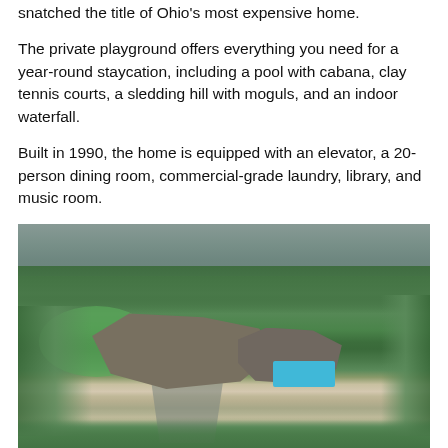snatched the title of Ohio's most expensive home.
The private playground offers everything you need for a year-round staycation, including a pool with cabana, clay tennis courts, a sledding hill with moguls, and an indoor waterfall.
Built in 1990, the home is equipped with an elevator, a 20-person dining room, commercial-grade laundry, library, and music room.
[Figure (photo): Aerial drone photograph of a large luxury estate mansion surrounded by dense green trees, with a visible swimming pool (bright blue) to the right side of the house, green lawns, and a body of water visible at the top of the image.]